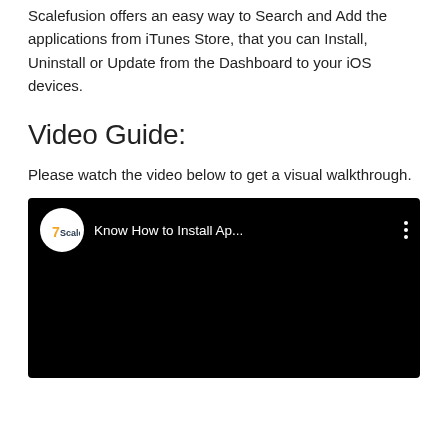Scalefusion offers an easy way to Search and Add the applications from iTunes Store, that you can Install, Uninstall or Update from the Dashboard to your iOS devices.
Video Guide:
Please watch the video below to get a visual walkthrough.
[Figure (screenshot): Embedded YouTube video thumbnail showing a black background with Scalefusion channel icon (white circle with logo) and title 'Know How to Install Ap...' with a three-dot menu icon.]